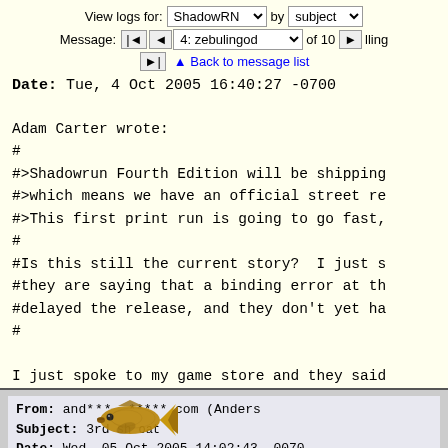View logs for: ShadowRN by subject
Message: |◄ ◄ 4: zebulingod ▼ of 10 ► ►| ▲ Back to message list ... lling
Date: Tue, 4 Oct 2005 16:40:27 -0700
Adam Carter wrote:
#
#>Shadowrun Fourth Edition will be shipping
#>which means we have an official street re
#>This first print run is going to go fast,
#
#Is this still the current story?  I just s
#they are saying that a binding error at th
#delayed the release, and they don't yet ha
#
I just spoke to my game store and they said
Zebulin
From: and*******. com (Anders
Subject: 3rd sh oat
Date: Wed, 05 Oct 2005 14:02:43 -0700